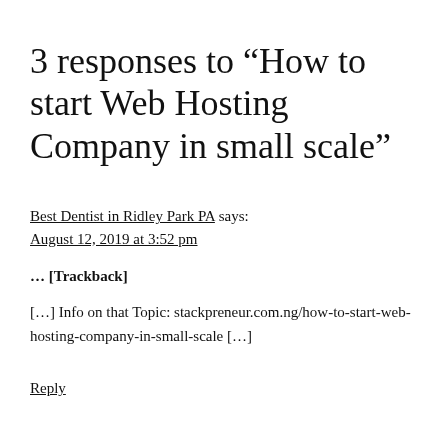3 responses to “How to start Web Hosting Company in small scale”
Best Dentist in Ridley Park PA says:
August 12, 2019 at 3:52 pm
… [Trackback]
[…] Info on that Topic: stackpreneur.com.ng/how-to-start-web-hosting-company-in-small-scale […]
Reply